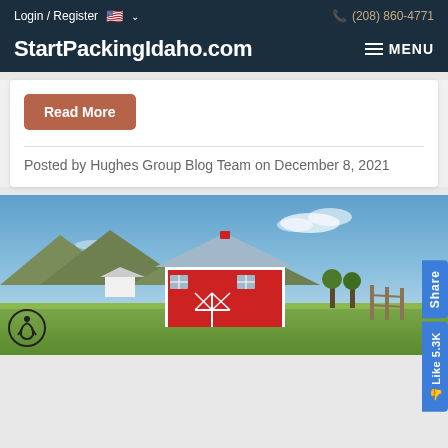Login / Register  🇺🇸 ∨    (208) 860-4771
StartPackingIdaho.com
Read More
Posted by Hughes Group Blog Team on December 8, 2021
[Figure (photo): Red barn with white trim and metal roof in a green field with mountains and blue sky in the background]
Share
Like 5.3K